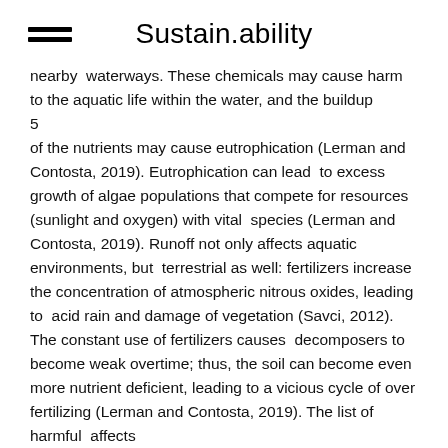Sustain.ability
nearby  waterways. These chemicals may cause harm to the aquatic life within the water, and the buildup
5
of the nutrients may cause eutrophication (Lerman and Contosta, 2019). Eutrophication can lead  to excess growth of algae populations that compete for resources (sunlight and oxygen) with vital  species (Lerman and Contosta, 2019). Runoff not only affects aquatic environments, but  terrestrial as well: fertilizers increase the concentration of atmospheric nitrous oxides, leading to  acid rain and damage of vegetation (Savci, 2012). The constant use of fertilizers causes  decomposers to become weak overtime; thus, the soil can become even more nutrient deficient, leading to a vicious cycle of over fertilizing (Lerman and Contosta, 2019). The list of harmful  affects